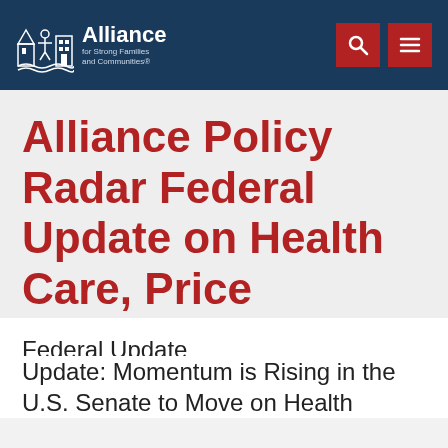[Figure (logo): Alliance for Strong Families and Communities logo with building/people icon, white text on dark blue background header with red search and menu buttons]
Alliance Policy Radar Federal Update on Health Care, Price Hearing, More
Federal Update
Update: Momentum is Rising in the U.S. Senate to Move on Health